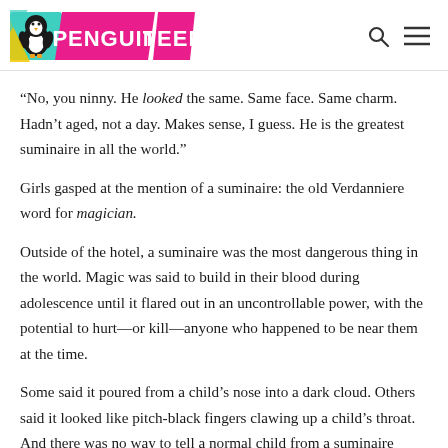PENGUIN TEEN
“No, you ninny. He looked the same. Same face. Same charm. Hadn’t aged, not a day. Makes sense, I guess. He is the greatest suminaire in all the world.”
Girls gasped at the mention of a suminaire: the old Verdanniere word for magician.
Outside of the hotel, a suminaire was the most dangerous thing in the world. Magic was said to build in their blood during adolescence until it flared out in an uncontrollable power, with the potential to hurt—or kill—anyone who happened to be near them at the time.
Some said it poured from a child’s nose into a dark cloud. Others said it looked like pitch-black fingers clawing up a child’s throat. And there was no way to tell a normal child from a suminaire before their magic flared.